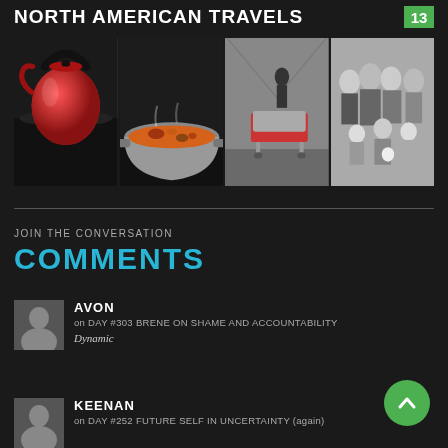NORTH AMERICAN TRAVELS
[Figure (photo): Photo strip with four images: red kettle on dark surface, bowl of stew/soup, hospital gurney in corridor, black-and-white family portrait]
JOIN THE CONVERSATION
COMMENTS
[Figure (other): User avatar placeholder (gray silhouette icon)]
AVON
on DAY #303 BRENE ON SHAME AND ACCOUNTABILITY
Dynamic
[Figure (other): User avatar placeholder (gray silhouette icon)]
KEENAN
on DAY #252 FUTURE SELF IN UNCERTAINTY (again)